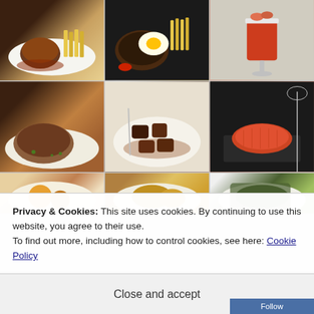[Figure (photo): 3x3 grid of restaurant food photos showing various meat dishes, seafood, and drinks on plates and dark slate boards]
Privacy & Cookies: This site uses cookies. By continuing to use this website, you agree to their use.
To find out more, including how to control cookies, see here: Cookie Policy
Close and accept